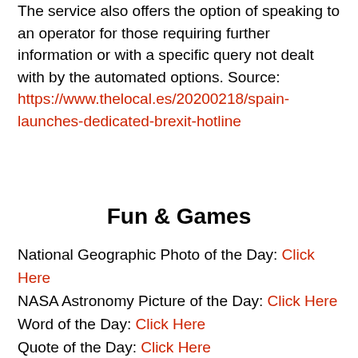The service also offers the option of speaking to an operator for those requiring further information or with a specific query not dealt with by the automated options. Source: https://www.thelocal.es/20200218/spain-launches-dedicated-brexit-hotline
Fun & Games
National Geographic Photo of the Day: Click Here
NASA Astronomy Picture of the Day: Click Here
Word of the Day: Click Here
Quote of the Day: Click Here
Fact of the Day: Click Here